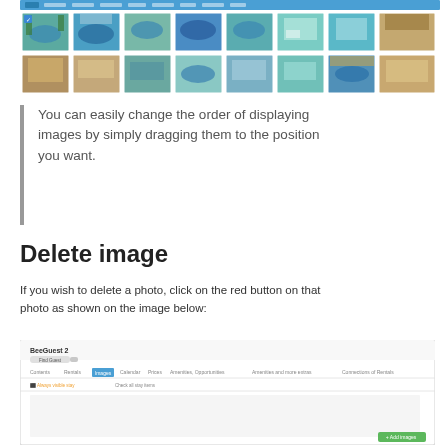[Figure (screenshot): A screenshot of a photo gallery interface showing two rows of property/hotel images in a grid layout, with a blue navigation bar at top.]
You can easily change the order of displaying images by simply dragging them to the position you want.
Delete image
If you wish to delete a photo, click on the red button on that photo as shown on the image below:
[Figure (screenshot): A screenshot of the BeeGuest 2 property management interface showing the Images tab with navigation, property name 'BeeGuest 2', and an Add images button in the bottom right corner (green).]